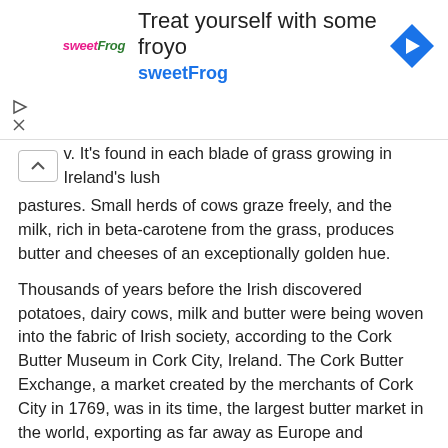[Figure (infographic): Advertisement banner for sweetFrog frozen yogurt. Shows sweetFrog logo on left, headline 'Treat yourself with some froyo' and subheading 'sweetFrog' in blue, and a blue diamond navigation arrow icon on the right. Play and close controls on the left side.]
v. It's found in each blade of grass growing in Ireland's lush pastures. Small herds of cows graze freely, and the milk, rich in beta-carotene from the grass, produces butter and cheeses of an exceptionally golden hue.
Thousands of years before the Irish discovered potatoes, dairy cows, milk and butter were being woven into the fabric of Irish society, according to the Cork Butter Museum in Cork City, Ireland. The Cork Butter Exchange, a market created by the merchants of Cork City in 1769, was in its time, the largest butter market in the world, exporting as far away as Europe and America. Today, dairy products continue to play an important role in Irish cooking. Cooperatives of farmers, creameries and cheesemakers provide delicious Irish butter and cheeses throughout the U.S. under the Kerrygold label.
Here are some iconic recipes from some stars of Irish cooking, using Kerrygold cheeses and butter. To learn more about